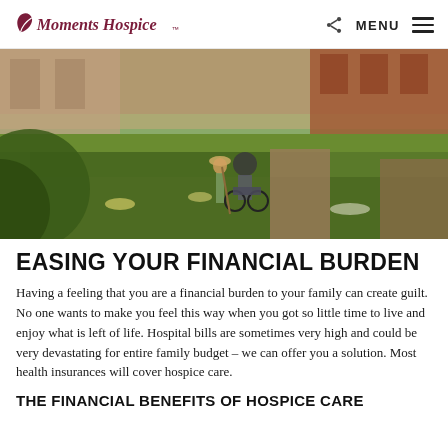Moments Hospice — MENU
[Figure (photo): Outdoor garden scene with an elderly person in a wheelchair and a caretaker among neatly trimmed hedges and flower beds, in front of brick buildings on a sunny day.]
EASING YOUR FINANCIAL BURDEN
Having a feeling that you are a financial burden to your family can create guilt. No one wants to make you feel this way when you got so little time to live and enjoy what is left of life. Hospital bills are sometimes very high and could be very devastating for entire family budget – we can offer you a solution. Most health insurances will cover hospice care.
THE FINANCIAL BENEFITS OF HOSPICE CARE